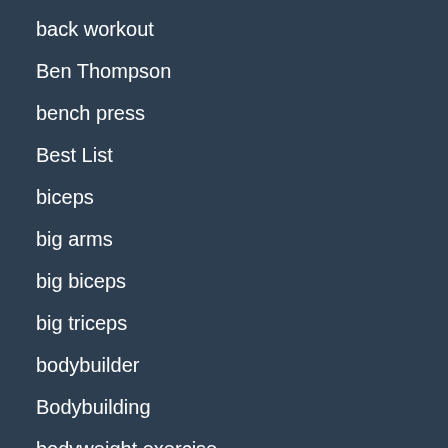back workout
Ben Thompson
bench press
Best List
biceps
big arms
big biceps
big triceps
bodybuilder
Bodybuilding
bodyweight exercise
bodyweight only
bodyweight training